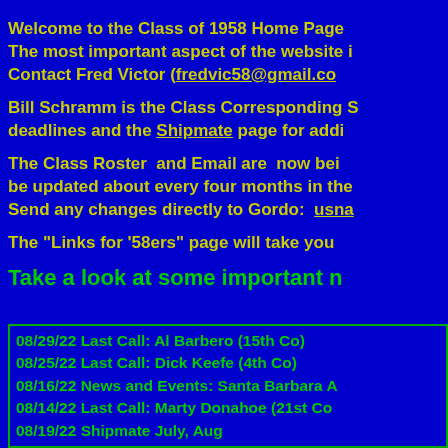Welcome to the Class of 1958 Home Page The most important aspect of the website i... Contact Fred Victor (fredvic58@gmail.co...
Bill Schramm is the Class Corresponding S... deadlines and the Shipmate page for addi...
The Class Roster and Email are now bei... be updated about every four months in the... Send any changes directly to Gordo: usna...
The "Links for '58ers" page will take you...
Take a look at some important n...
| Date | Event |
| --- | --- |
| 08/29/22 | Last Call: Al Barbero (15th Co) |
| 08/25/22 | Last Call: Dick Keefe (4th Co) |
| 08/16/22 | News and Events: Santa Barbara A... |
| 08/14/22 | Last Call: Marty Donahoe (21st Co... |
| 08/19/22 | Shipmate July, Aug... |